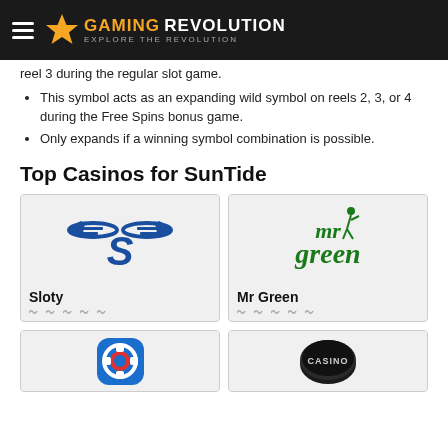Gaming Revolution – Explore the Revolution
reel 3 during the regular slot game.
This symbol acts as an expanding wild symbol on reels 2, 3, or 4 during the Free Spins bonus game.
Only expands if a winning symbol combination is possible.
Top Casinos for SunTide
[Figure (logo): Sloty casino logo – blue winged S on light gray background]
[Figure (logo): Mr Green casino logo – green mr green golf figure text on light gray background]
[Figure (logo): Partially visible casino logo at bottom left – blue rounded icon with chip symbol]
[Figure (logo): Partially visible casino logo at bottom right – black circular Casino badge]